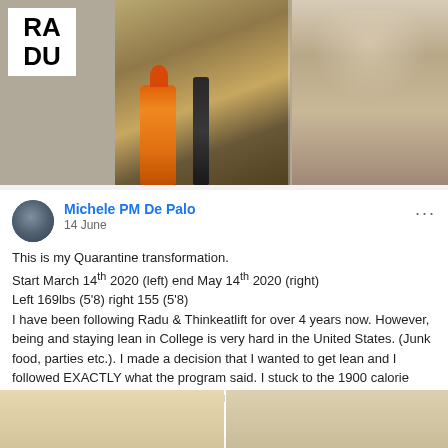[Figure (photo): Before and after transformation photos side by side. Left photo shows a person with bathroom products (orange bottle, dark bottle). Right photo shows a person with more muscular/lean physique. RADU logo in top-left corner.]
Michele PM De Palo
14 June
This is my Quarantine transformation.
Start March 14th 2020 (left) end May 14th 2020 (right)
Left 169lbs (5'8) right 155 (5'8)
I have been following Radu & Thinkeatlift for over 4 years now. However, being and staying lean in College is very hard in the United States. (Junk food, parties etc.). I made a decision that I wanted to get lean and I followed EXACTLY what the program said. I stuck to the 1900 calorie meal plan and trained 3x per week full body with the equipment I h... See more
[Figure (photo): Bottom portion of before and after transformation photos, showing lower body/skin tone comparison.]